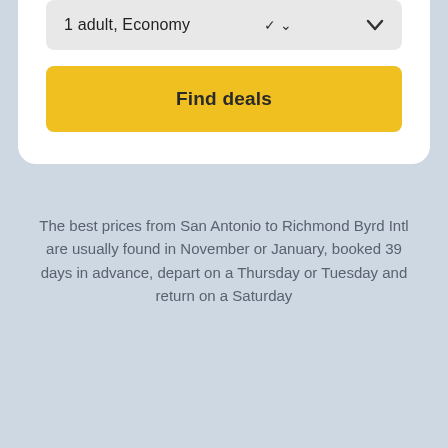1 adult, Economy
Find deals
The best prices from San Antonio to Richmond Byrd Intl are usually found in November or January, booked 39 days in advance, depart on a Thursday or Tuesday and return on a Saturday